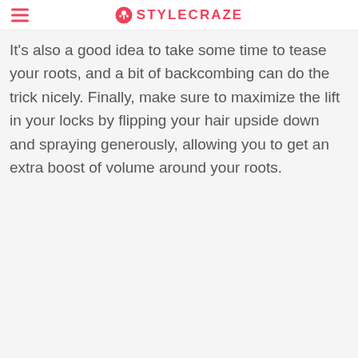STYLECRAZE
It's also a good idea to take some time to tease your roots, and a bit of backcombing can do the trick nicely. Finally, make sure to maximize the lift in your locks by flipping your hair upside down and spraying generously, allowing you to get an extra boost of volume around your roots.